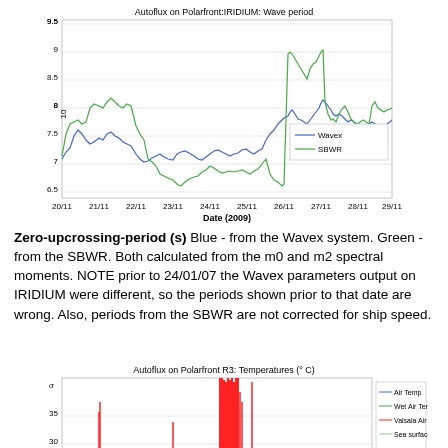[Figure (continuous-plot): Line chart showing two time series: Wavex (blue) and SBWR (green) wave period values over dates 20/11 to 29/11 (2009). Y-axis ranges from approximately 6.5 to 10.5. Both series show fluctuating wave periods with SBWR showing sharper peaks around 21/11 and 27/11.]
Zero-upcrossing-period (s) Blue - from the Wavex system. Green - from the SBWR. Both calculated from the m0 and m2 spectral moments. NOTE prior to 24/01/07 the Wavex parameters output on IRIDIUM were different, so the periods shown prior to that date are wrong. Also, periods from the SBWR are not corrected for ship speed.
[Figure (continuous-plot): Partial line chart showing temperature time series including Air Temp (blue), Wet Air Temp (green), Vaisala Air Temp (red), and Sea surface temp (light green). Y-axis shows values from about 20 to 35+. The red series shows tall spike artifacts. Chart is cut off at the bottom of the page.]